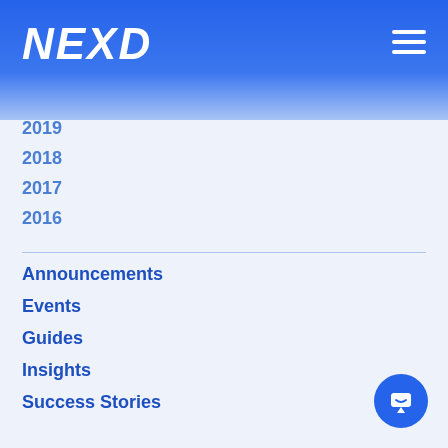NEXD
2019
2018
2017
2016
Announcements
Events
Guides
Insights
Success Stories
#Custom Particles Effect  #digital advertising  #Christmas  #Black Friday  #nexd ads  #Valentine's Day  #Countdown